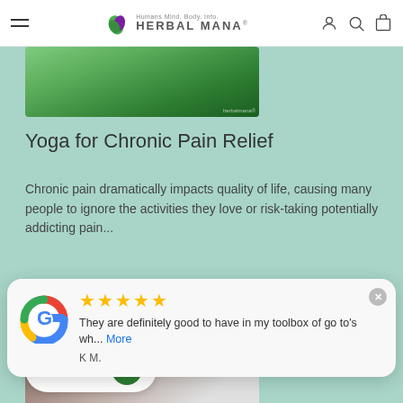Herbal Mana
[Figure (photo): Green nature/yoga outdoor photo with watermark]
Yoga for Chronic Pain Relief
Chronic pain dramatically impacts quality of life, causing many people to ignore the activities they love or risk-taking potentially addicting pain...
[Figure (screenshot): Google review popup with 5 stars: 'They are definitely good to have in my toolbox of go to's wh... More' by K M.]
[Figure (photo): Partial image showing 'HOW DOES' text overlay on herbal/food product photo]
REWARDS